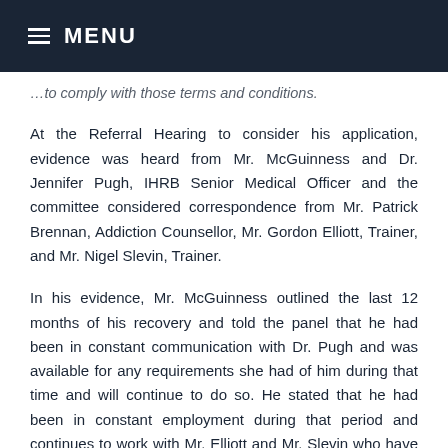≡ MENU
…to comply with those terms and conditions.
At the Referral Hearing to consider his application, evidence was heard from Mr. McGuinness and Dr. Jennifer Pugh, IHRB Senior Medical Officer and the committee considered correspondence from Mr. Patrick Brennan, Addiction Counsellor, Mr. Gordon Elliott, Trainer, and Mr. Nigel Slevin, Trainer.
In his evidence, Mr. McGuinness outlined the last 12 months of his recovery and told the panel that he had been in constant communication with Dr. Pugh and was available for any requirements she had of him during that time and will continue to do so. He stated that he had been in constant employment during that period and continues to work with Mr. Elliott and Mr. Slevin who have been very supportive of him and that this work had given him a major focus and that his mindset had totally changed to really enjoying his work. Mr. McGuinness stated that